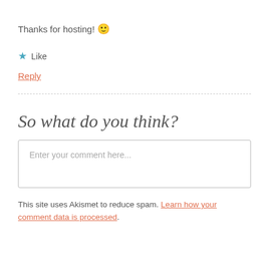Thanks for hosting! 🙂
★ Like
Reply
So what do you think?
Enter your comment here...
This site uses Akismet to reduce spam. Learn how your comment data is processed.